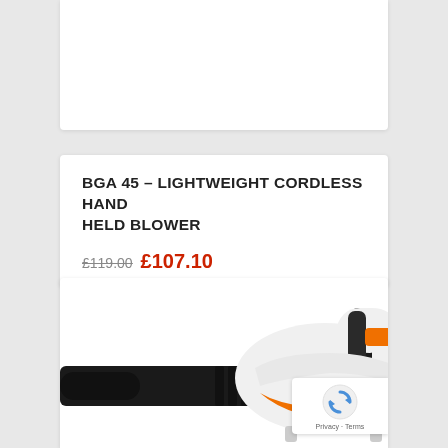[Figure (photo): Top portion of a white product card, partially cut off at top]
BGA 45 – LIGHTWEIGHT CORDLESS HAND HELD BLOWER
£119.00 £107.10
[Figure (photo): STIHL BGA 45 cordless handheld leaf blower product photo on white background, showing orange and white body with black nozzle tube, STIHL branding visible]